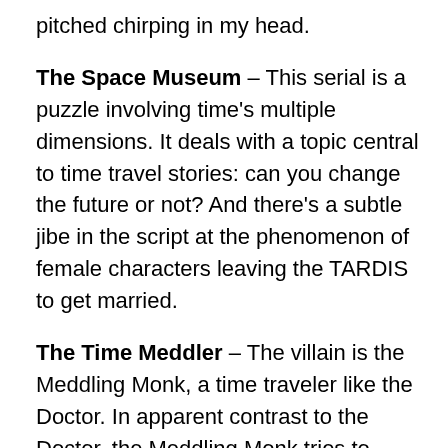pitched chirping in my head.
The Space Museum – This serial is a puzzle involving time's multiple dimensions. It deals with a topic central to time travel stories: can you change the future or not? And there's a subtle jibe in the script at the phenomenon of female characters leaving the TARDIS to get married.
The Time Meddler – The villain is the Meddling Monk, a time traveler like the Doctor. In apparent contrast to the Doctor, the Meddling Monk tries to change history for the better. What happens when he tries to stop the Viking invasion of 1066?
Second Doctor: Patrick Troughton